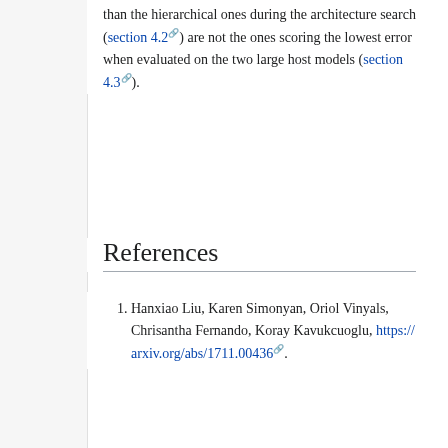than the hierarchical ones during the architecture search (section 4.2) are not the ones scoring the lowest error when evaluated on the two large host models (section 4.3).
References
Hanxiao Liu, Karen Simonyan, Oriol Vinyals, Chrisantha Fernando, Koray Kavukcuoglu, https://arxiv.org/abs/1711.00436.
This page was last modified on 11 December 2018, at 12:53.
Privacy policy · About statwiki · Disclaimers